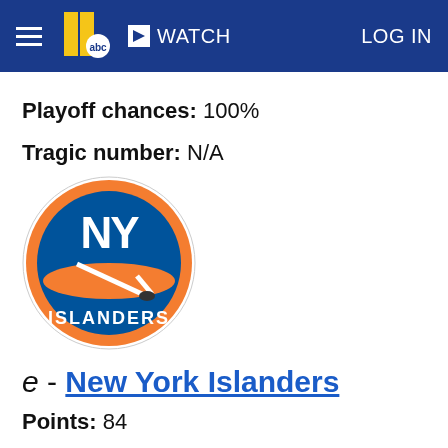WATCH   LOG IN
Playoff chances: 100%
Tragic number: N/A
[Figure (logo): New York Islanders NHL team logo — circular logo with blue and orange colors, 'NY' letters and 'ISLANDERS' text with hockey stick graphic]
e - New York Islanders
Points: 84
Regulation wins: 34